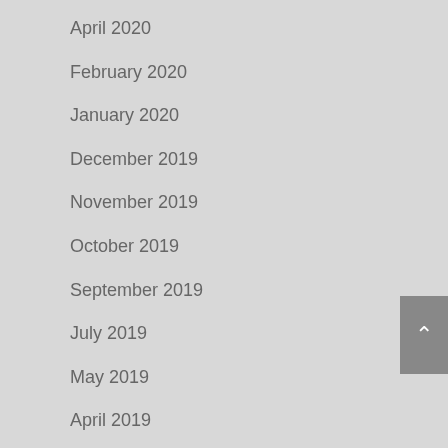April 2020
February 2020
January 2020
December 2019
November 2019
October 2019
September 2019
July 2019
May 2019
April 2019
March 2019
February 2019
January 2019